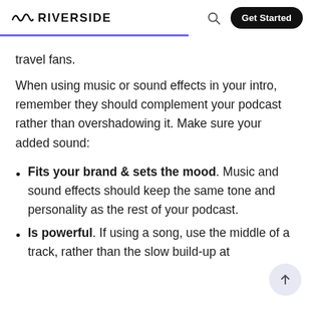RIVERSIDE
travel fans.
When using music or sound effects in your intro, remember they should complement your podcast rather than overshadowing it. Make sure your added sound:
Fits your brand & sets the mood. Music and sound effects should keep the same tone and personality as the rest of your podcast.
Is powerful. If using a song, use the middle of a track, rather than the slow build-up at